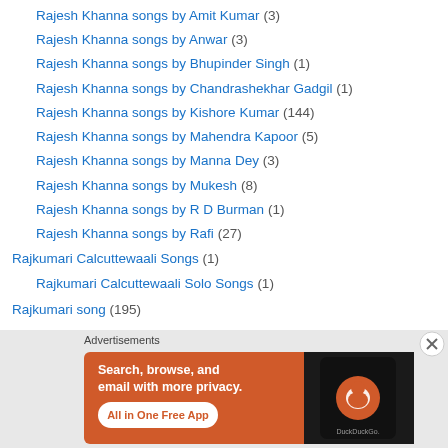Rajesh Khanna songs by Amit Kumar (3)
Rajesh Khanna songs by Anwar (3)
Rajesh Khanna songs by Bhupinder Singh (1)
Rajesh Khanna songs by Chandrashekhar Gadgil (1)
Rajesh Khanna songs by Kishore Kumar (144)
Rajesh Khanna songs by Mahendra Kapoor (5)
Rajesh Khanna songs by Manna Dey (3)
Rajesh Khanna songs by Mukesh (8)
Rajesh Khanna songs by R D Burman (1)
Rajesh Khanna songs by Rafi (27)
Rajkumari Calcuttewaali Songs (1)
Rajkumari Calcuttewaali Solo Songs (1)
Rajkumari song (195)
Rajkumari solo (116)
Rakhi...
[Figure (screenshot): DuckDuckGo advertisement banner with orange background showing 'Search, browse, and email with more privacy. All in One Free App' text with phone mockup showing DuckDuckGo logo]